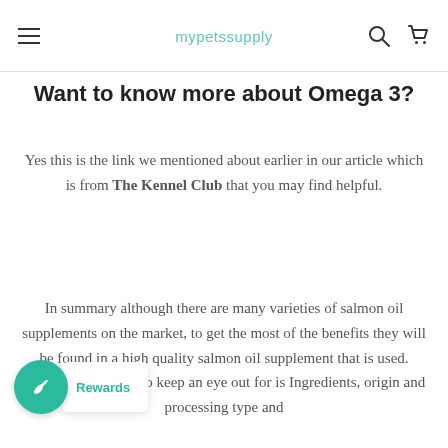mypetssupply
Want to know more about Omega 3?
Yes this is the link we mentioned about earlier in our article which is from The Kennel Club that you may find helpful.
In summary although there are many varieties of salmon oil supplements on the market, to get the most of the benefits they will be found in a high quality salmon oil supplement that is used. ...ngs to keep an eye out for is Ingredients, origin and processing type and